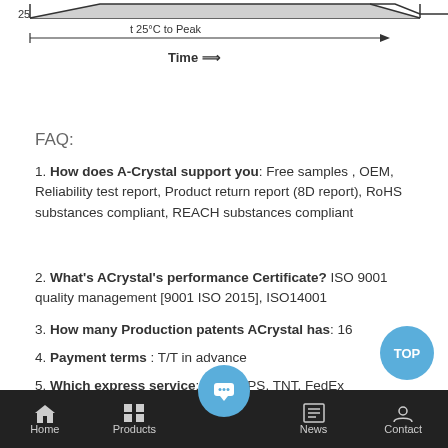[Figure (schematic): Partial reflow temperature profile diagram showing '25' label on y-axis, 't 25°C to Peak' arrow on x-axis, and 'Time ⟹' label below x-axis arrow.]
FAQ:
1. How does A-Crystal support you: Free samples , OEM, Reliability test report, Product return report (8D report), RoHS substances compliant, REACH substances compliant
2. What's ACrystal's performance Certificate? ISO 9001 quality management [9001 ISO 2015], ISO14001
3. How many Production patents ACrystal has: 16
4. Payment terms : T/T in advance
5. Which express service: DHL, UPS, TNT, FedEx
Home | Products | [Chat] | News | Contact